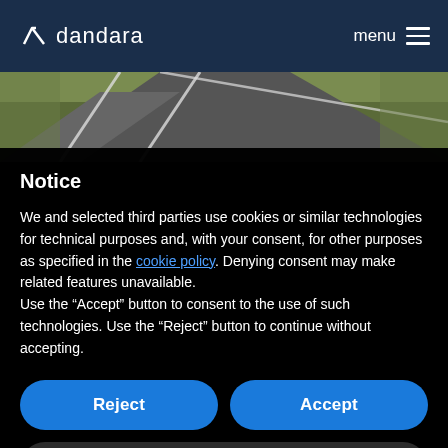dandara  menu
[Figure (photo): Aerial view of a driveway/path with green grass and white line markings]
Notice
We and selected third parties use cookies or similar technologies for technical purposes and, with your consent, for other purposes as specified in the cookie policy. Denying consent may make related features unavailable.
Use the "Accept" button to consent to the use of such technologies. Use the "Reject" button to continue without accepting.
Reject
Accept
Learn more and customize